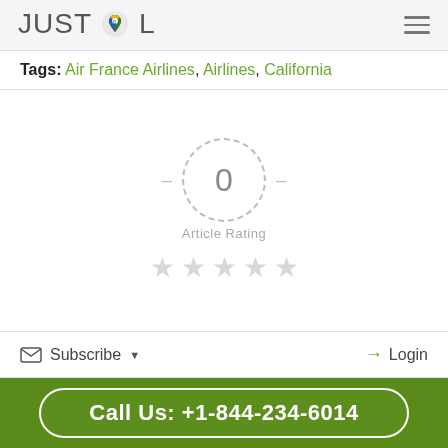JUSTCOL
Tags: Air France Airlines, Airlines, California
[Figure (infographic): Article rating widget showing a dashed circle with the number 0 inside, flanked by two dashes, labeled 'Article Rating', with five empty grey stars below.]
Subscribe ▾   Login
Call Us: +1-844-234-6014